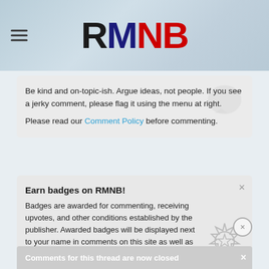[Figure (logo): RMNB logo with hamburger menu icon. R and M in dark/navy, N and B in red.]
Be kind and on-topic-ish. Argue ideas, not people. If you see a jerky comment, please flag it using the menu at right.
Please read our Comment Policy before commenting.
Earn badges on RMNB!
Badges are awarded for commenting, receiving upvotes, and other conditions established by the publisher. Awarded badges will be displayed next to your name in comments on this site as well as on your profile.
See the available badges
Comments for this thread are now closed